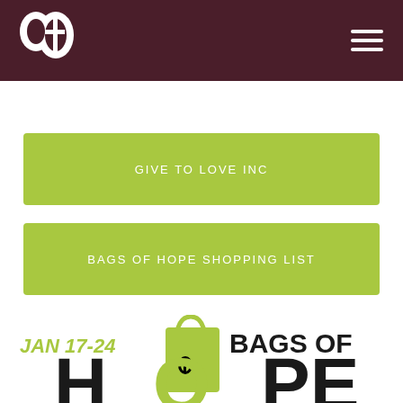[Figure (logo): Church logo - white heart and cross symbol on dark maroon/burgundy header bar with hamburger menu icon on right]
GIVE TO LOVE INC
BAGS OF HOPE SHOPPING LIST
[Figure (illustration): Promotional graphic showing a green reusable shopping bag with text 'JAN 17-24' in green and 'BAGS OF HOPE' in black, with the word HOPE shown in large black block letters partially cut off at bottom]